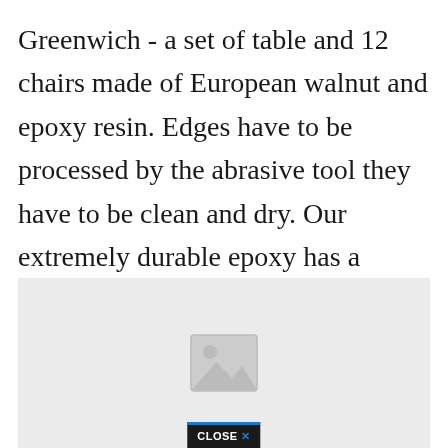Greenwich - a set of table and 12 chairs made of European walnut and epoxy resin. Edges have to be processed by the abrasive tool they have to be clean and dry. Our extremely durable epoxy has a crystal-c. Only 1 available and its in 11 peoples carts. Epoxy resin and silicone mold jewelry.
[Figure (other): Image placeholder with a broken image icon and a CLOSE X button at the bottom on a light gray background]